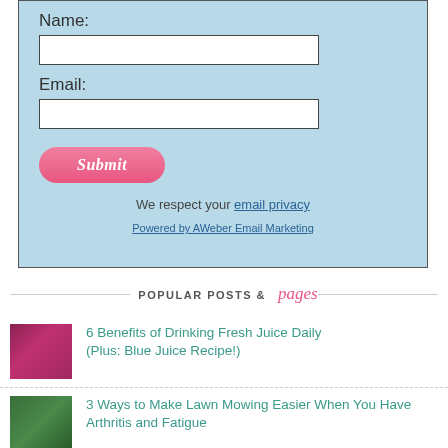Name:
Email:
Submit
We respect your email privacy
Powered by AWeber Email Marketing
POPULAR POSTS & pages
6 Benefits of Drinking Fresh Juice Daily (Plus: Blue Juice Recipe!)
3 Ways to Make Lawn Mowing Easier When You Have Arthritis and Fatigue
Does Chicory Taste Like Coffee?